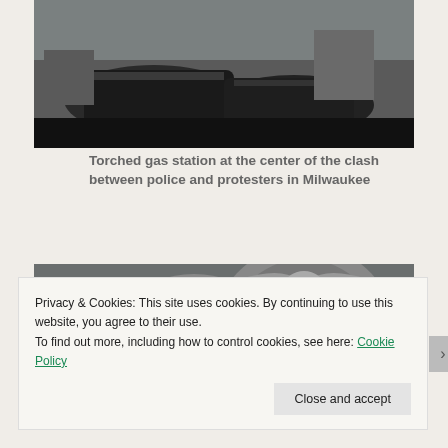[Figure (photo): Torched/burned gas station with damaged vehicles, dark and charred scene]
Torched gas station at the center of the clash between police and protesters in Milwaukee
[Figure (photo): Milwaukee police chief in dark uniform speaking in front of Milwaukee police badge emblem]
Privacy & Cookies: This site uses cookies. By continuing to use this website, you agree to their use.
To find out more, including how to control cookies, see here: Cookie Policy
Close and accept